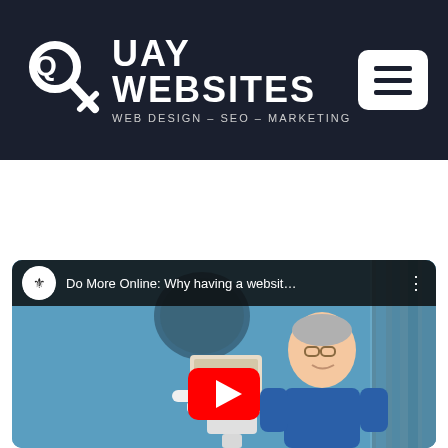[Figure (logo): Quay Websites logo with magnifying glass / key icon and text 'QUAY WEBSITES - WEB DESIGN - SEO - MARKETING' on dark navy background with hamburger menu button]
[Figure (screenshot): YouTube video thumbnail showing a man in blue shirt holding a tablet with text 'Do More Online: Why having a websit...' and a play button overlay. Channel icon shows a royal crest.]